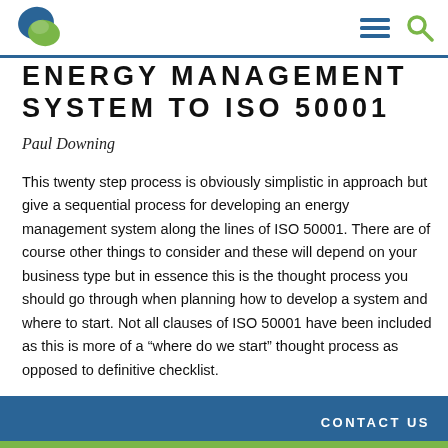[Figure (logo): Company logo: circular icon with blue and green overlapping shapes]
[Figure (other): Navigation icons: hamburger menu (three horizontal lines) and search magnifying glass icon]
ENERGY MANAGEMENT SYSTEM TO ISO 50001
Paul Downing
This twenty step process is obviously simplistic in approach but give a sequential process for developing an energy management system along the lines of ISO 50001. There are of course other things to consider and these will depend on your business type but in essence this is the thought process you should go through when planning how to develop a system and where to start. Not all clauses of ISO 50001 have been included as this is more of a “where do we start” thought process as opposed to definitive checklist.
CONTACT US